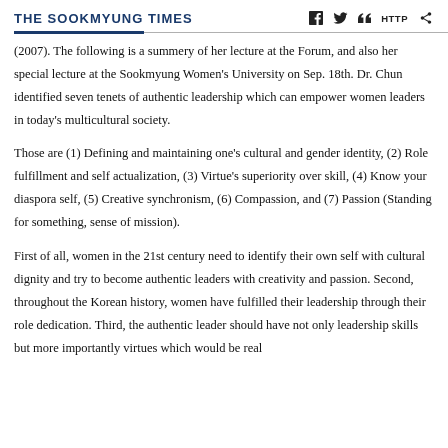THE SOOKMYUNG TIMES
(2007).  The following is a summery of her lecture at the Forum, and also her special lecture at the Sookmyung Women's University on Sep. 18th.  Dr. Chun identified seven tenets of authentic leadership which can empower women leaders in today's multicultural society.
Those are (1) Defining and maintaining one's cultural and gender identity, (2) Role fulfillment and self actualization, (3) Virtue's superiority over skill, (4) Know your diaspora self, (5) Creative synchronism, (6) Compassion, and (7) Passion (Standing for something, sense of mission).
First of all, women in the 21st century need to identify their own self with cultural dignity and try to become authentic leaders with creativity and passion.  Second, throughout the Korean history, women have fulfilled their leadership through their role dedication.  Third, the authentic leader should have not only leadership skills but more importantly virtues which would be real